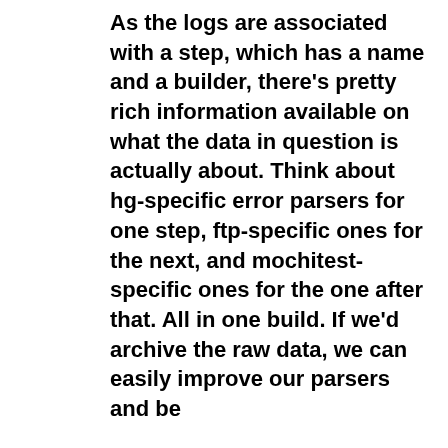As the logs are associated with a step, which has a name and a builder, there's pretty rich information available on what the data in question is actually about. Think about hg-specific error parsers for one step, ftp-specific ones for the next, and mochitest-specific ones for the one after that. All in one build. If we'd archive the raw data, we can easily improve our parsers and be